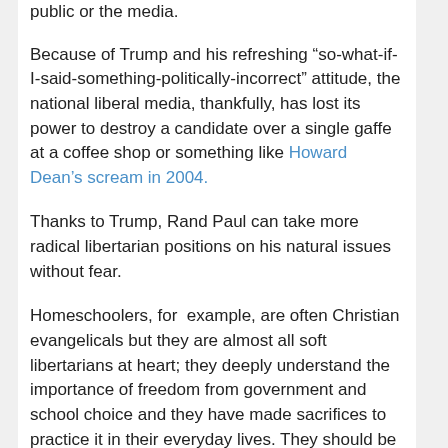public or the media.
Because of Trump and his refreshing “so-what-if-I-said-something-politically-incorrect” attitude, the national liberal media, thankfully, has lost its power to destroy a candidate over a single gaffe at a coffee shop or something like Howard Dean’s scream in 2004.
Thanks to Trump, Rand Paul can take more radical libertarian positions on his natural issues without fear.
Homeschoolers, for  example, are often Christian evangelicals but they are almost all soft libertarians at heart; they deeply understand the importance of freedom from government and school choice and they have made sacrifices to practice it in their everyday lives. They should be Rand Paul’s natural constituency — not Rick Santorum’s.
Another issue tailor-made for Rand Paul is Uber.
I’m an Uber driver in Pittsburgh. I know from experience